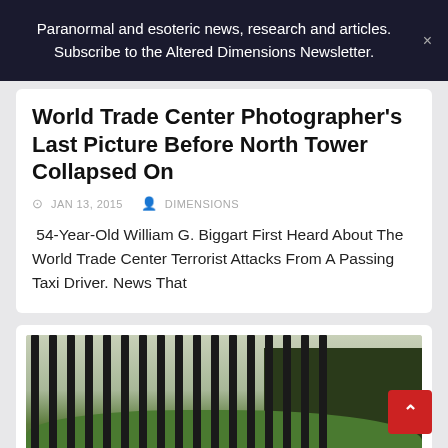Paranormal and esoteric news, research and articles. Subscribe to the Altered Dimensions Newsletter.
World Trade Center Photographer's Last Picture Before North Tower Collapsed On
JAN 13, 2015   DIMENSIONS
54-Year-Old William G. Biggart First Heard About The World Trade Center Terrorist Attacks From A Passing Taxi Driver. News That
[Figure (photo): Outdoor photo showing iron fence bars in foreground, a person visible behind the fence, green shrubbery and a building in the background]